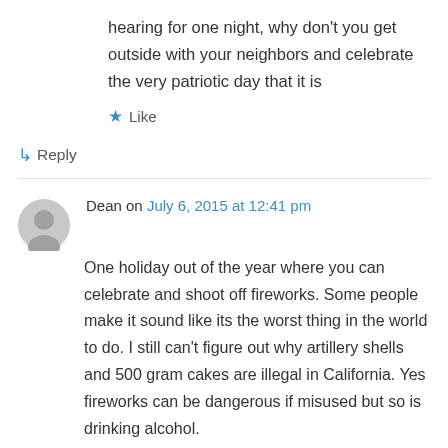hearing for one night, why don't you get outside with your neighbors and celebrate the very patriotic day that it is
★ Like
↳ Reply
Dean on July 6, 2015 at 12:41 pm
One holiday out of the year where you can celebrate and shoot off fireworks. Some people make it sound like its the worst thing in the world to do. I still can't figure out why artillery shells and 500 gram cakes are illegal in California. Yes fireworks can be dangerous if misused but so is drinking alcohol.